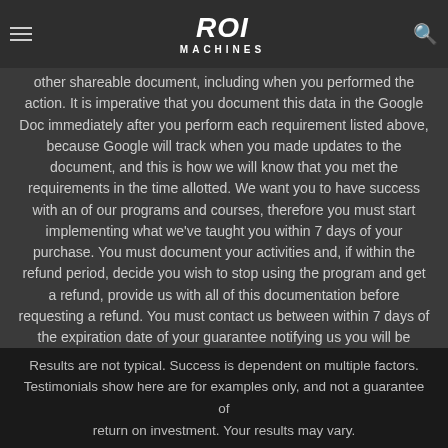ROI MACHINES
other shareable document, including when you performed the action. It is imperative that you document this data in the Google Doc immediately after you perform each requirement listed above, because Google will track when you made updates to the document, and this is how we will know that you met the requirements in the time allotted. We want you to have success with an of our programs and courses, therefore you must start implementing what we've taught you within 7 days of your purchase. You must document your activities and, if within the refund period, decide you wish to stop using the program and get a refund, provide us with all of this documentation before requesting a refund. You must contact us between within 7 days of the expiration date of your guarantee notifying us you will be submitting a refund request and have your documentation ready for review. No exceptions.
EARNINGS DISCLAIMER
1. Although we make every effort to accurately represent the services and/or products presented on this website, we make no assurance, representation or promise regarding future earnings or income, or that
Results are not typical. Success is dependent on multiple factors. Testimonials show here are for examples only, and not a guarantee of return on investment. Your results may vary.